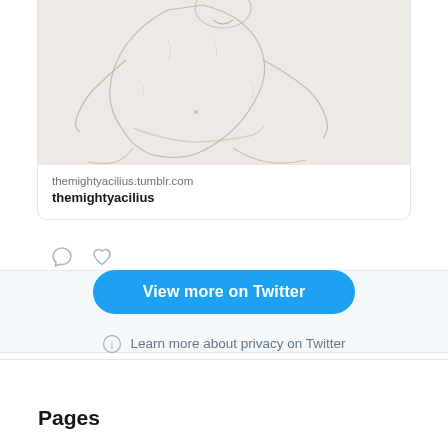[Figure (illustration): Pencil sketch drawing of a figure, partially cropped at the top, showing a reclining or seated person drawn in light graphite lines on white paper]
themightyacilius.tumblr.com
themightyacilius
[Figure (infographic): Comment icon (speech bubble outline) and heart/like icon (outline heart), social media action buttons]
View more on Twitter
Learn more about privacy on Twitter
Pages